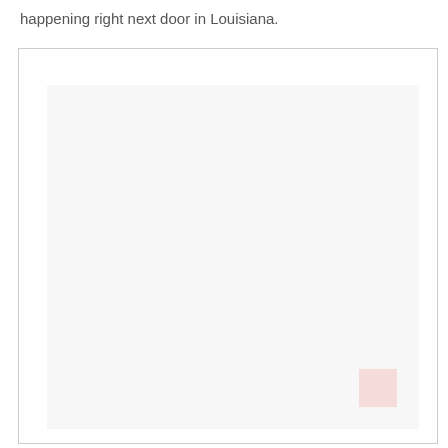happening right next door in Louisiana.
[Figure (other): Large mostly blank white/light gray box with a faint inner rectangle and a small pinkish-red watermark square in the bottom right corner.]